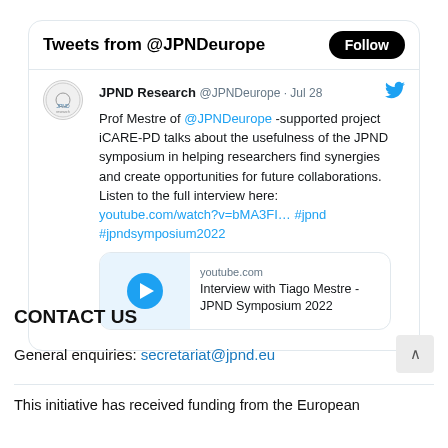Tweets from @JPNDeurope
[Figure (screenshot): JPND Research Twitter/X tweet from @JPNDeurope dated Jul 28. Tweet text: Prof Mestre of @JPNDeurope -supported project iCARE-PD talks about the usefulness of the JPND symposium in helping researchers find synergies and create opportunities for future collaborations. Listen to the full interview here: youtube.com/watch?v=bMA3FI... #jpnd #jpndsymposium2022. Includes YouTube preview card for 'Interview with Tiago Mestre - JPND Symposium 2022'.]
CONTACT US
General enquiries: secretariat@jpnd.eu
This initiative has received funding from the European